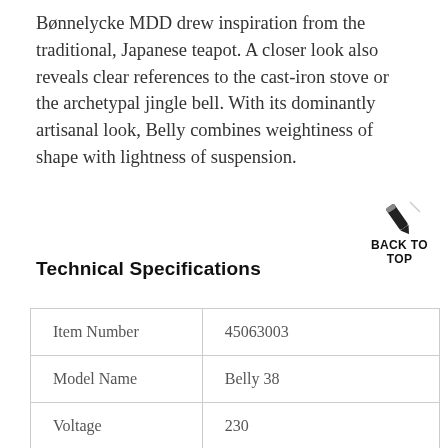Bønnelycke MDD drew inspiration from the traditional, Japanese teapot. A closer look also reveals clear references to the cast-iron stove or the archetypal jingle bell. With its dominantly artisanal look, Belly combines weightiness of shape with lightness of suspension.
Technical Specifications
|  |  |
| --- | --- |
| Item Number | 45063003 |
| Model Name | Belly 38 |
| Voltage | 230 |
| Class | Class 2 (Double |